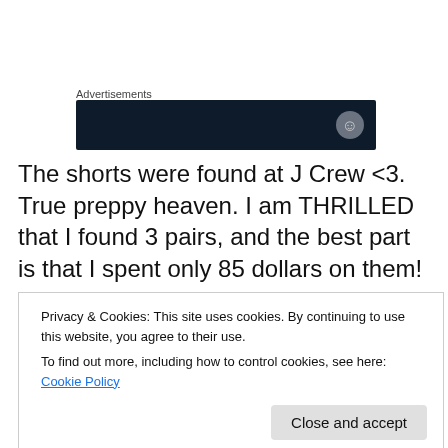Advertisements
[Figure (other): Dark advertisement banner with circular icon on right side]
The shorts were found at J Crew <3. True preppy heaven. I am THRILLED that I found 3 pairs, and the best part is that I spent only 85 dollars on them! Second runner up to the best part, is that I am a size smaller than anticipated. The color selection was wonderful, but it was 9:00 on the dot, the time the outlets close and I am
Privacy & Cookies: This site uses cookies. By continuing to use this website, you agree to their use.
To find out more, including how to control cookies, see here: Cookie Policy
inseam, or bermudas, in navy.